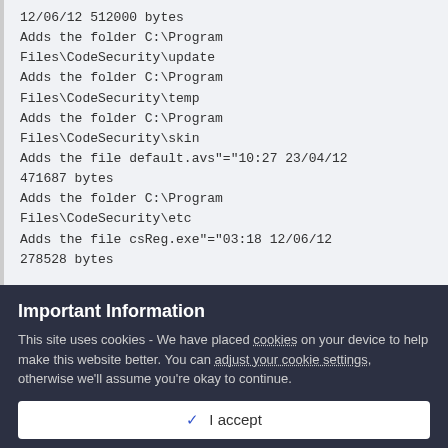12/06/12 512000 bytes
Adds the folder C:\Program Files\CodeSecurity\update
Adds the folder C:\Program Files\CodeSecurity\temp
Adds the folder C:\Program Files\CodeSecurity\skin
Adds the file default.avs"="10:27 23/04/12 471687 bytes
Adds the folder C:\Program Files\CodeSecurity\etc
Adds the file csReg.exe"="03:18 12/06/12
278528 bytes
Important Information
This site uses cookies - We have placed cookies on your device to help make this website better. You can adjust your cookie settings, otherwise we'll assume you're okay to continue.
I accept